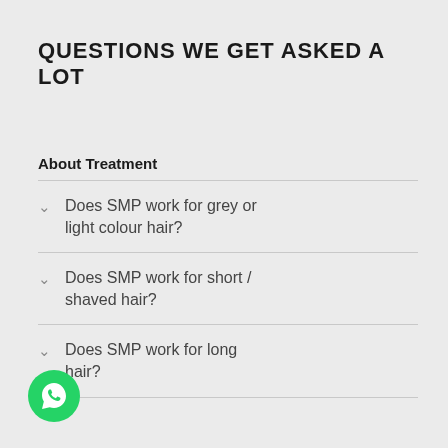QUESTIONS WE GET ASKED A LOT
About Treatment
Does SMP work for grey or light colour hair?
Does SMP work for short / shaved hair?
Does SMP work for long hair?
[Figure (logo): WhatsApp green circular button icon]